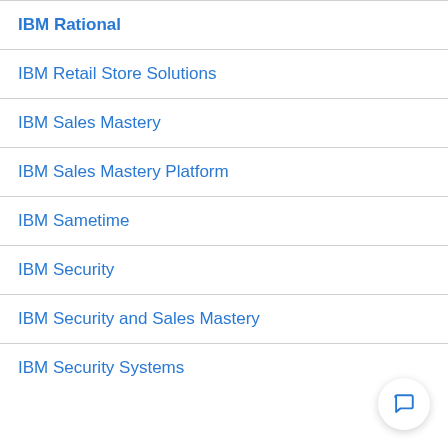IBM Rational
IBM Retail Store Solutions
IBM Sales Mastery
IBM Sales Mastery Platform
IBM Sametime
IBM Security
IBM Security and Sales Mastery
IBM Security Systems